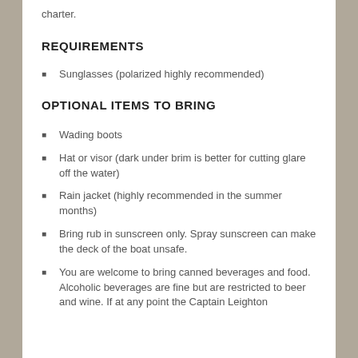charter.
REQUIREMENTS
Sunglasses (polarized highly recommended)
OPTIONAL ITEMS TO BRING
Wading boots
Hat or visor (dark under brim is better for cutting glare off the water)
Rain jacket (highly recommended in the summer months)
Bring rub in sunscreen only. Spray sunscreen can make the deck of the boat unsafe.
You are welcome to bring canned beverages and food. Alcoholic beverages are fine but are restricted to beer and wine. If at any point the Captain Leighton